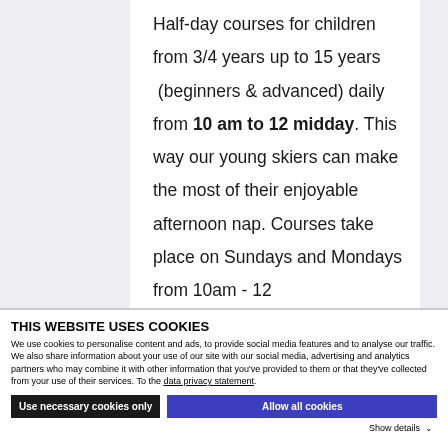Half-day courses for children from 3/4 years up to 15 years  (beginners & advanced) daily from 10 am to 12 midday. This way our young skiers can make the most of their enjoyable afternoon nap. Courses take place on Sundays and Mondays from 10am - 12
THIS WEBSITE USES COOKIES
We use cookies to personalise content and ads, to provide social media features and to analyse our traffic. We also share information about your use of our site with our social media, advertising and analytics partners who may combine it with other information that you've provided to them or that they've collected from your use of their services. To the data privacy statement.